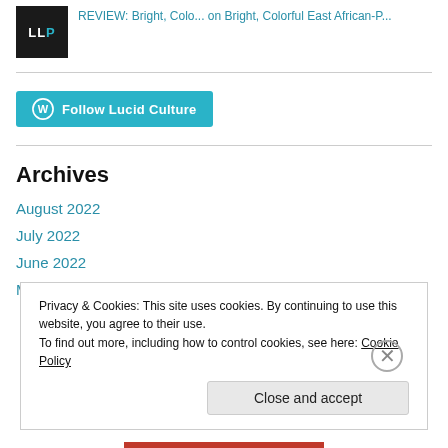[Figure (logo): LLP logo - dark background with white LLP text, P in teal]
REVIEW: Bright, Colo... on Bright, Colorful East African-P...
[Figure (other): Follow Lucid Culture button with WordPress icon]
Archives
August 2022
July 2022
June 2022
May 2022
Privacy & Cookies: This site uses cookies. By continuing to use this website, you agree to their use.
To find out more, including how to control cookies, see here: Cookie Policy
Close and accept